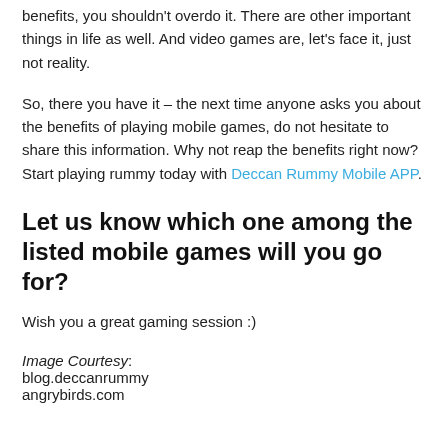benefits, you shouldn't overdo it. There are other important things in life as well. And video games are, let's face it, just not reality.
So, there you have it – the next time anyone asks you about the benefits of playing mobile games, do not hesitate to share this information. Why not reap the benefits right now? Start playing rummy today with Deccan Rummy Mobile APP.
Let us know which one among the listed mobile games will you go for?
Wish you a great gaming session :)
Image Courtesy:
blog.deccanrummy
angrybirds.com